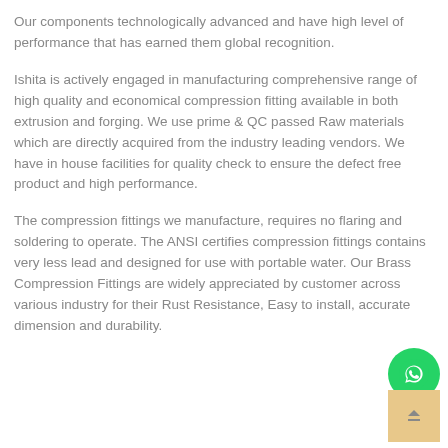Our components technologically advanced and have high level of performance that has earned them global recognition.
Ishita is actively engaged in manufacturing comprehensive range of high quality and economical compression fitting available in both extrusion and forging. We use prime & QC passed Raw materials which are directly acquired from the industry leading vendors. We have in house facilities for quality check to ensure the defect free product and high performance.
The compression fittings we manufacture, requires no flaring and soldering to operate. The ANSI certifies compression fittings contains very less lead and designed for use with portable water. Our Brass Compression Fittings are widely appreciated by customer across various industry for their Rust Resistance, Easy to install, accurate dimension and durability.